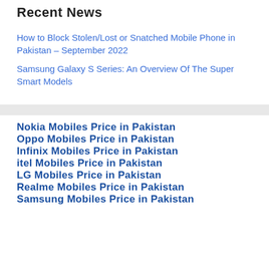Recent News
How to Block Stolen/Lost or Snatched Mobile Phone in Pakistan – September 2022
Samsung Galaxy S Series: An Overview Of The Super Smart Models
Nokia Mobiles Price in Pakistan
Oppo Mobiles Price in Pakistan
Infinix Mobiles Price in Pakistan
itel Mobiles Price in Pakistan
LG Mobiles Price in Pakistan
Realme Mobiles Price in Pakistan
Samsung Mobiles Price in Pakistan